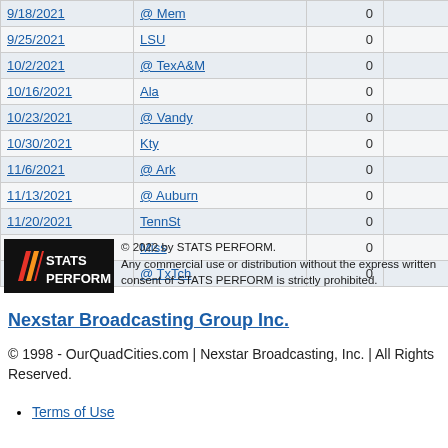| Date | Opponent |  |  |  |
| --- | --- | --- | --- | --- |
| 9/18/2021 | @ Mem | 0 |  |  |
| 9/25/2021 | LSU | 0 |  |  |
| 10/2/2021 | @ TexA&M | 0 |  |  |
| 10/16/2021 | Ala | 0 |  |  |
| 10/23/2021 | @ Vandy | 0 |  |  |
| 10/30/2021 | Kty | 0 |  |  |
| 11/6/2021 | @ Ark | 0 |  |  |
| 11/13/2021 | @ Auburn | 0 |  |  |
| 11/20/2021 | TennSt | 0 |  |  |
| 11/25/2021 | Miss | 0 |  |  |
| 12/28/2021 | @ TxTch | 0 |  |  |
[Figure (logo): STATS PERFORM logo - black background with colored slashes and white text]
© 2022 by STATS PERFORM. Any commercial use or distribution without the express written consent of STATS PERFORM is strictly prohibited.
Nexstar Broadcasting Group Inc.
© 1998 - OurQuadCities.com | Nexstar Broadcasting, Inc. | All Rights Reserved.
Terms of Use